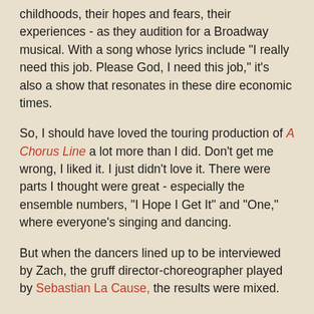childhoods, their hopes and fears, their experiences - as they audition for a Broadway musical. With a song whose lyrics include "I really need this job. Please God, I need this job," it's also a show that resonates in these dire economic times.
So, I should have loved the touring production of A Chorus Line a lot more than I did. Don't get me wrong, I liked it. I just didn't love it. There were parts I thought were great - especially the ensemble numbers, "I Hope I Get It" and "One," where everyone's singing and dancing.
But when the dancers lined up to be interviewed by Zach, the gruff director-choreographer played by Sebastian La Cause, the results were mixed.
(And where is Zach? For most of the show, he's a disembodied voice. I wasn't sure whether he was sitting in a seat in the front of the theatre or reading his lines from offstage or whether they just use a tape recording.)
Zach doesn't just want to see them dance. He wants to hear